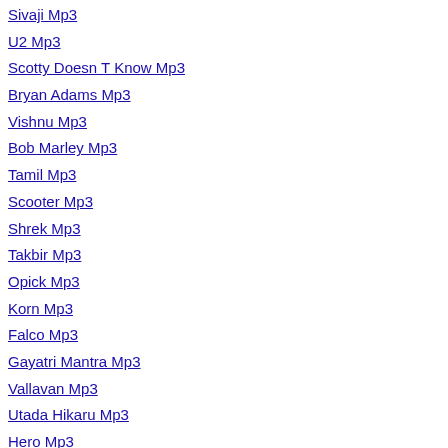Sivaji Mp3
U2 Mp3
Scotty Doesn T Know Mp3
Bryan Adams Mp3
Vishnu Mp3
Bob Marley Mp3
Tamil Mp3
Scooter Mp3
Shrek Mp3
Takbir Mp3
Opick Mp3
Korn Mp3
Falco Mp3
Gayatri Mantra Mp3
Vallavan Mp3
Utada Hikaru Mp3
Hero Mp3
The Mp3
Rihana Mp3
Outlandish Mp3
Evanescence Mp3
Requiem For A Dream Mp3
Numa Numa Mp3
Queen Mp3
Music Mp3